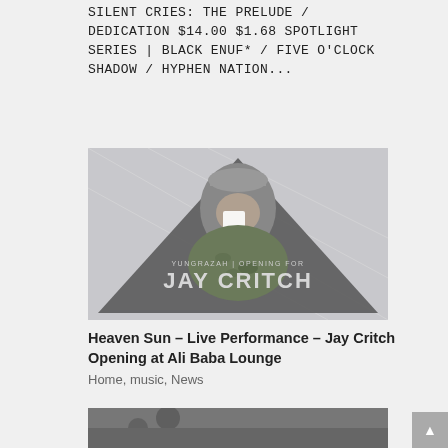SILENT CRIES: THE PRELUDE / DEDICATION $14.00 $1.68 SPOTLIGHT SERIES | BLACK ENUF* / FIVE O'CLOCK SHADOW / HYPHEN NATION...
[Figure (photo): Promotional photo for Jay Critch show. A person wearing a hoodie and cap holds a cup to their face, inside a dark triangle graphic. Text reads: YUNGRAZAH | OPENING FOR JAY CRITCH]
Heaven Sun – Live Performance – Jay Critch Opening at Ali Baba Lounge
Home, music, News
[Figure (photo): Partially visible photo at bottom of page, dark/grayscale image]